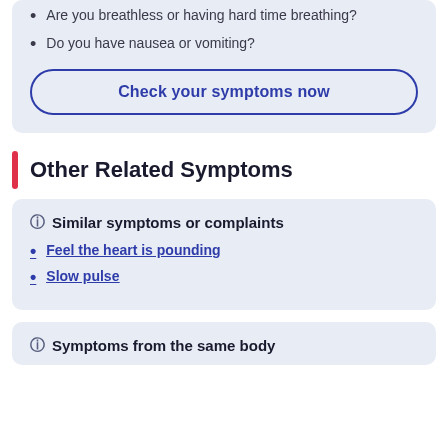Are you breathless or having hard time breathing?
Do you have nausea or vomiting?
Check your symptoms now
Other Related Symptoms
Similar symptoms or complaints
Feel the heart is pounding
Slow pulse
Symptoms from the same body